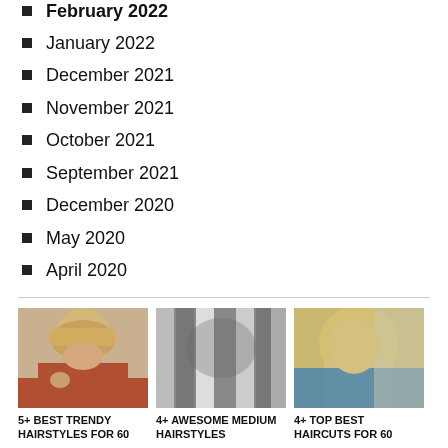February 2022
January 2022
December 2021
November 2021
October 2021
September 2021
December 2020
May 2020
April 2020
[Figure (photo): Woman with short blonde pixie cut wearing red sweater]
5+ BEST TRENDY HAIRSTYLES FOR 60
[Figure (photo): Close-up of medium gray highlighted hairstyle]
4+ AWESOME MEDIUM HAIRSTYLES
[Figure (photo): Woman with blonde bob haircut, side profile, in salon]
4+ TOP BEST HAIRCUTS FOR 60